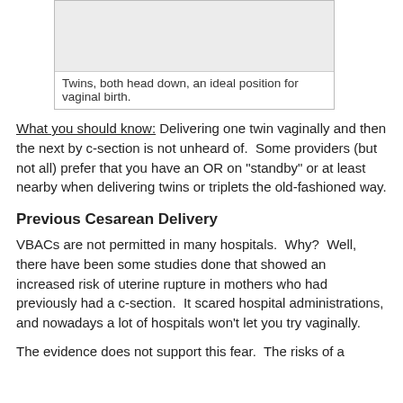[Figure (illustration): An illustration or diagram of twins both in head-down position, ideal for vaginal birth. The image area appears as a light gray rectangle.]
Twins, both head down, an ideal position for vaginal birth.
What you should know: Delivering one twin vaginally and then the next by c-section is not unheard of. Some providers (but not all) prefer that you have an OR on "standby" or at least nearby when delivering twins or triplets the old-fashioned way.
Previous Cesarean Delivery
VBACs are not permitted in many hospitals. Why? Well, there have been some studies done that showed an increased risk of uterine rupture in mothers who had previously had a c-section. It scared hospital administrations, and nowadays a lot of hospitals won't let you try vaginally.
The evidence does not support this fear. The risks of a